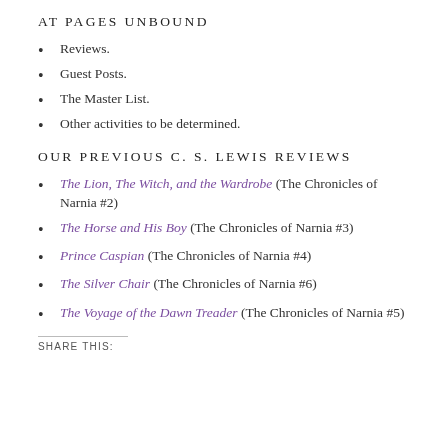AT PAGES UNBOUND
Reviews.
Guest Posts.
The Master List.
Other activities to be determined.
OUR PREVIOUS C. S. LEWIS REVIEWS
The Lion, The Witch, and the Wardrobe (The Chronicles of Narnia #2)
The Horse and His Boy (The Chronicles of Narnia #3)
Prince Caspian (The Chronicles of Narnia #4)
The Silver Chair (The Chronicles of Narnia #6)
The Voyage of the Dawn Treader (The Chronicles of Narnia #5)
SHARE THIS: